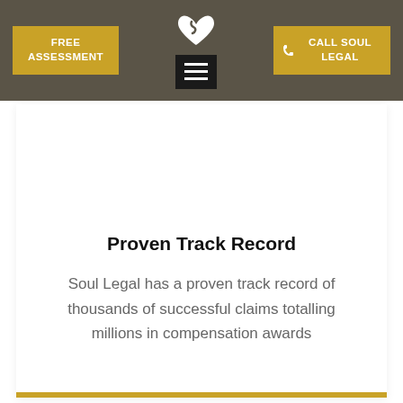FREE ASSESSMENT | CALL SOUL LEGAL
Proven Track Record
Soul Legal has a proven track record of thousands of successful claims totalling millions in compensation awards